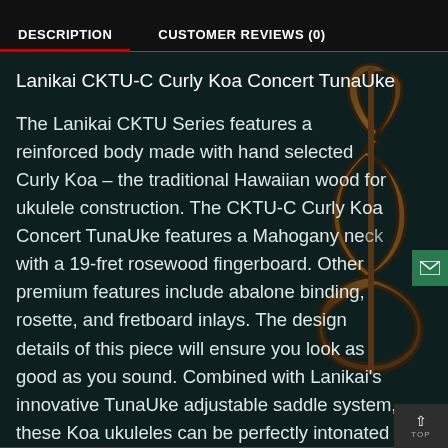DESCRIPTION   CUSTOMER REVIEWS (0)
Lanikai CKTU-C Curly Koa Concert TunaUke
The Lanikai CKTU Series features a reinforced body made with hand selected Curly Koa – the traditional Hawaiian wood for ukulele construction. The CKTU-C Curly Koa Concert TunaUke features a Mahogany neck with a 19-fret rosewood fingerboard. Other premium features include abalone binding, rosette, and fretboard inlays. The design details of this piece will ensure you look as good as you sound. Combined with Lanikai's innovative TunaUke adjustable saddle system, these Koa ukuleles can be perfectly intonated with no tools necessary to within a few cents on every single fret.
[Figure (illustration): Decorative treble clef music symbol in brown/wood texture on dark background]